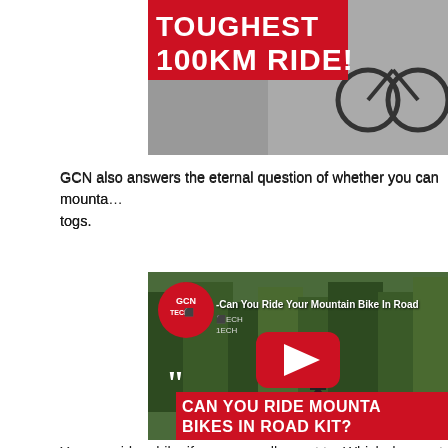[Figure (photo): Cropped top image showing a cyclist with red banner reading TOUGHEST 100KM RIDE!]
GCN also answers the eternal question of whether you can mountain bike in road togs.
[Figure (screenshot): YouTube video thumbnail for GCN Tech video titled Can You Ride Your Mountain Bike In Road Kit? showing a mountain biker on a trail with red bottom banner reading CAN YOU RIDE MOUNTAIN BIKES IN ROAD KIT?]
You can ride a bike if you generally want to. Which does not come with a...